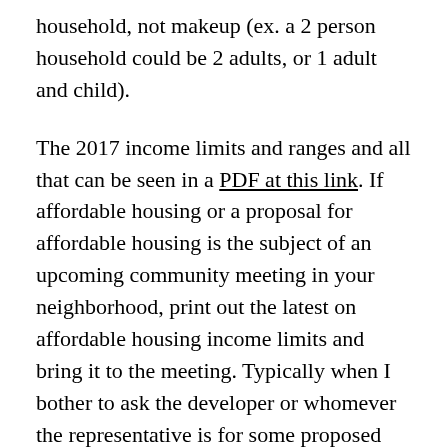household, not makeup (ex. a 2 person household could be 2 adults, or 1 adult and child).
The 2017 income limits and ranges and all that can be seen in a PDF at this link. If affordable housing or a proposal for affordable housing is the subject of an upcoming community meeting in your neighborhood, print out the latest on affordable housing income limits and bring it to the meeting. Typically when I bother to ask the developer or whomever the representative is for some proposed project about income, they are unsure what the limits are. They do know that they are supposed to have X number of units out of Y number of units at 50% or 30%. Sometimes they mention how many bedrooms per unit and let's say no one is building units for large families.
I feel I need to also define 'public housing' as I tend